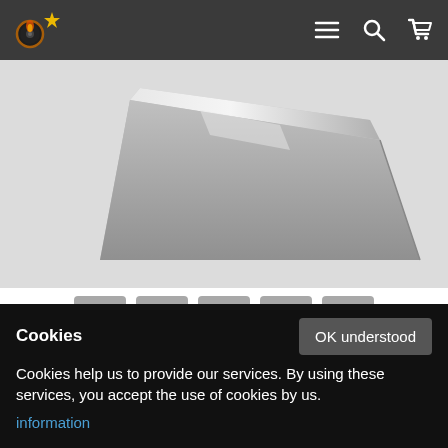CDStar shop navigation bar with logo, menu, search, and cart icons
[Figure (photo): Transparent sleeve product image showing gray/silver sleeve from above angle on light gray background]
[Figure (infographic): Social share buttons row: Facebook (f), Twitter (bird), Pinterest (p), Email (envelope), Plus (+)]
Description
Transparent sleeve for cd / dvd with flap and
Cookies
Cookies help us to provide our services. By using these services, you accept the use of cookies by us.
information
OK understood